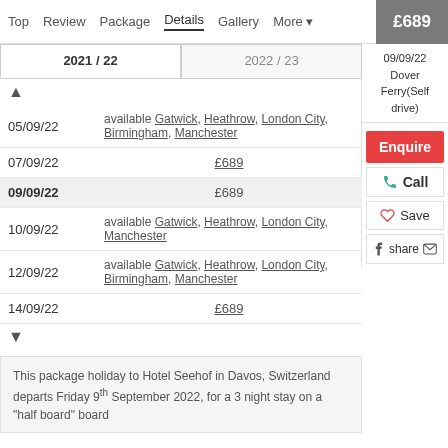Top  Review  Package  Details  Gallery  More  £689
09/09/22 Dover Ferry(Self drive)
Enquire
Call
Save
share
| Date | Info | Price |
| --- | --- | --- |
|  | ▲ |  |
| 05/09/22 | available Gatwick, Heathrow, London City, Birmingham, Manchester |  |
| 07/09/22 |  | £689 |
| 09/09/22 |  | £689 |
| 10/09/22 | available Gatwick, Heathrow, London City, Manchester |  |
| 12/09/22 | available Gatwick, Heathrow, London City, Birmingham, Manchester |  |
| 14/09/22 |  | £689 |
|  | ▼ |  |
This package holiday to Hotel Seehof in Davos, Switzerland departs Friday 9th September 2022, for a 3 night stay on a "half board" board...